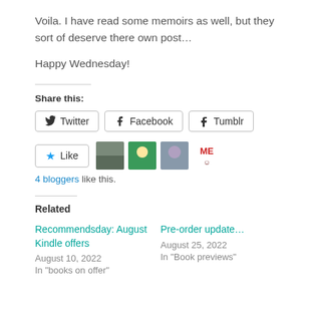Voila. I have read some memoirs as well, but they sort of deserve there own post…
Happy Wednesday!
Share this:
Twitter  Facebook  Tumblr
Like  4 bloggers like this.
Related
Recommendsday: August Kindle offers
August 10, 2022
In "books on offer"
Pre-order update…
August 25, 2022
In "Book previews"